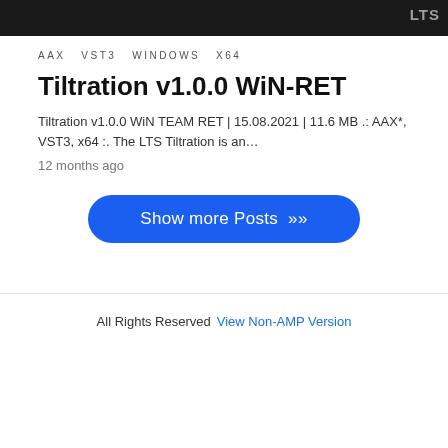LTS
AAX  VST3  WINDOWS  X64
Tiltration v1.0.0 WiN-RET
Tiltration v1.0.0 WiN TEAM RET | 15.08.2021 | 11.6 MB .: AAX*, VST3, x64 :. The LTS Tiltration is an…
12 months ago
Show more Posts »
All Rights Reserved  View Non-AMP Version